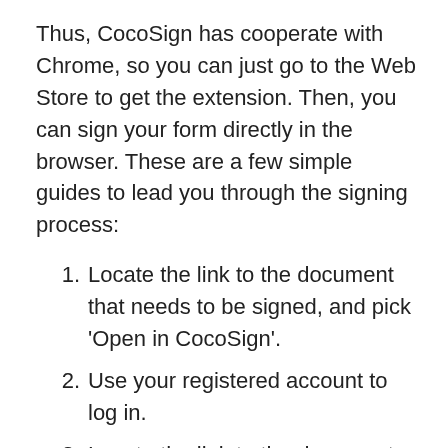Thus, CocoSign has cooperate with Chrome, so you can just go to the Web Store to get the extension. Then, you can sign your form directly in the browser. These are a few simple guides to lead you through the signing process:
Locate the link to the document that needs to be signed, and pick 'Open in CocoSign'.
Use your registered account to log in.
Locate the link to the document that needs to be signed, and pick 'Open in CocoSign'.
Press 'My signature' and put your